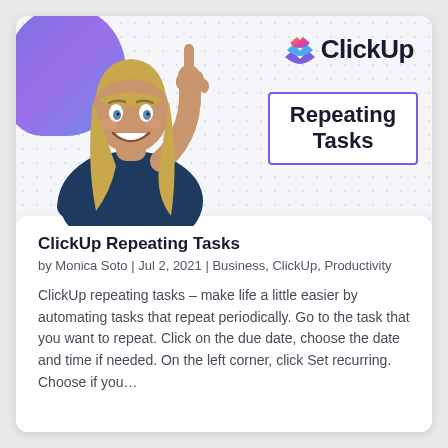[Figure (logo): ClickUp logo with multicolor chevron icon and bold ClickUp text]
Repeating Tasks
[Figure (photo): Woman with long blonde hair wearing a dark blue top, pointing one finger up, smiling with mouth open, against a purple gradient blob background]
ClickUp Repeating Tasks
by Monica Soto | Jul 2, 2021 | Business, ClickUp, Productivity
ClickUp repeating tasks – make life a little easier by automating tasks that repeat periodically. Go to the task that you want to repeat. Click on the due date, choose the date and time if needed. On the left corner, click Set recurring. Choose if you…